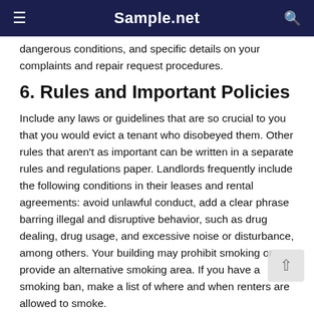Sample.net
dangerous conditions, and specific details on your complaints and repair request procedures.
6. Rules and Important Policies
Include any laws or guidelines that are so crucial to you that you would evict a tenant who disobeyed them. Other rules that aren't as important can be written in a separate rules and regulations paper. Landlords frequently include the following conditions in their leases and rental agreements: avoid unlawful conduct, add a clear phrase barring illegal and disruptive behavior, such as drug dealing, drug usage, and excessive noise or disturbance, among others. Your building may prohibit smoking or provide an alternative smoking area. If you have a smoking ban, make a list of where and when renters are allowed to smoke.